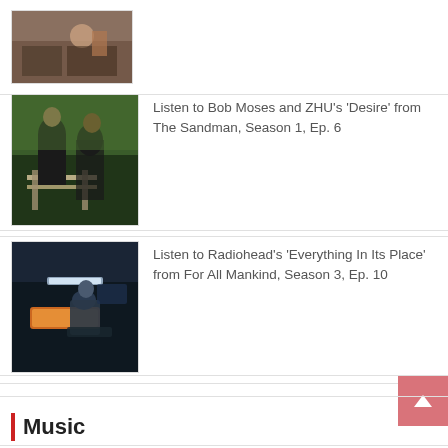[Figure (photo): Partial view of a scene with people at a table, thumbnail image cropped at top]
[Figure (photo): Two people sitting on a bench outdoors, from The Sandman TV show]
Listen to Bob Moses and ZHU's ‘Desire’ from The Sandman, Season 1, Ep. 6
[Figure (photo): Person crouched near a glowing panel in a dark sci-fi setting, from For All Mankind]
Listen to Radiohead’s ‘Everything In Its Place’ from For All Mankind, Season 3, Ep. 10
Music